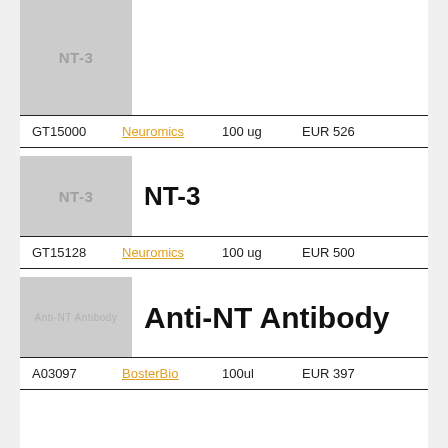[Figure (illustration): Partial product image placeholder for NT-3, gray background with NT-3 text, cut off at top]
| ID | Vendor | Quantity | Price |
| --- | --- | --- | --- |
| GT15000 | Neuromics | 100 ug | EUR 526 |
[Figure (illustration): Product image placeholder for NT-3, gray square with NT-3 text]
NT-3
| ID | Vendor | Quantity | Price |
| --- | --- | --- | --- |
| GT15128 | Neuromics | 100 ug | EUR 500 |
[Figure (illustration): Product image placeholder for Anti-NT Antibody, gray square with small text]
Anti-NT Antibody
| ID | Vendor | Quantity | Price |
| --- | --- | --- | --- |
| A03097 | BosterBio | 100ul | EUR 397 |